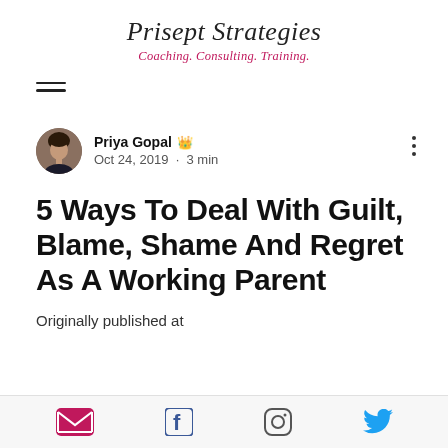Prisept Strategies
Coaching. Consulting. Training.
[Figure (other): Hamburger menu icon (three horizontal lines)]
Priya Gopal 👑
Oct 24, 2019 · 3 min
5 Ways To Deal With Guilt, Blame, Shame And Regret As A Working Parent
Originally published at
[Figure (other): Social media share bar with email, Facebook, Instagram, and Twitter icons]